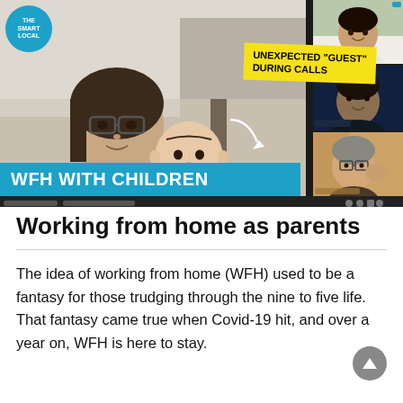[Figure (screenshot): Screenshot of a video call (Zoom-like interface) showing a woman with glasses holding a baby in the main panel, with three smaller video thumbnails on the right side. A yellow label reads 'UNEXPECTED "GUEST" DURING CALLS' with an arrow pointing to the baby. A cyan banner at the bottom reads 'WFH WITH CHILDREN'. The Smart Local logo is in the top-left corner.]
Working from home as parents
The idea of working from home (WFH) used to be a fantasy for those trudging through the nine to five life. That fantasy came true when Covid-19 hit, and over a year on, WFH is here to stay.